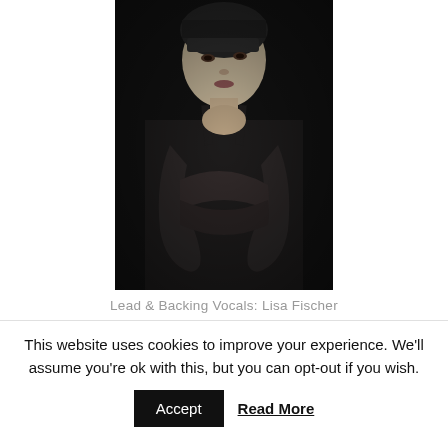[Figure (photo): Black and white portrait photograph of Lisa Fischer, a woman with short dark hair, wearing a black sleeveless dress and long black gloves crossed over her chest, looking to the side.]
Lead & Backing Vocals: Lisa Fischer
This website uses cookies to improve your experience. We'll assume you're ok with this, but you can opt-out if you wish.
Accept   Read More